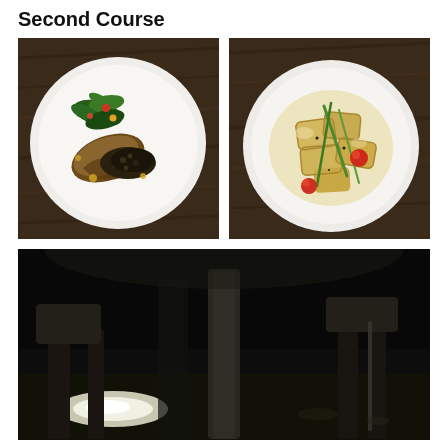Second Course
[Figure (photo): Overhead shot of a white plate with pan-seared fish fillet, black lentils, and arugula salad with vegetables on a dark wood table]
[Figure (photo): Overhead shot of a white plate with ravioli pasta in cream sauce, cherry tomatoes, and green herbs on a dark wood table]
[Figure (photo): Dark interior restaurant photo showing chairs and tables with low ambient light and a bright light source visible]